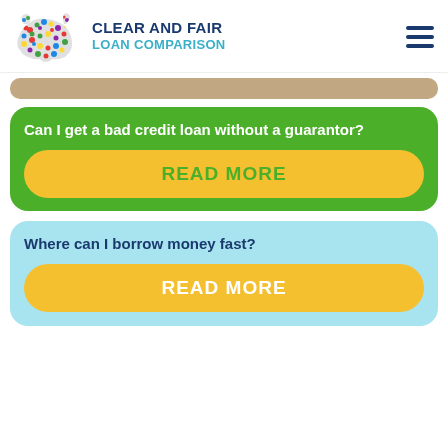[Figure (logo): Clear and Fair Loan Comparison website header with colorful polka-dot bear logo, brand text, and hamburger menu icon]
Can I get a bad credit loan without a guarantor?
READ MORE
Where can I borrow money fast?
READ MORE